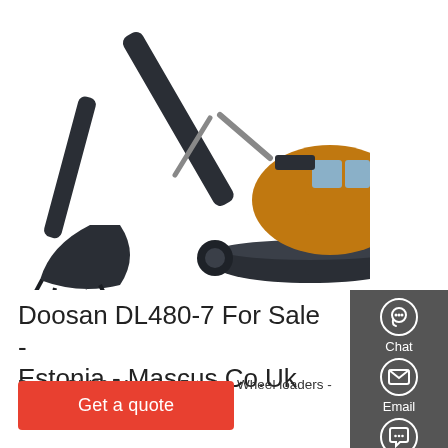[Figure (photo): Hyundai excavator (large tracked hydraulic excavator with yellow cab and dark grey boom/bucket) on white background]
Doosan DL480-7 For Sale - Estonia - Mascus.Co.Uk
Doosan DL480-7 for sale - Estonia - Wheel loaders - Loaders - Construction - Mascus UK
Get a quote